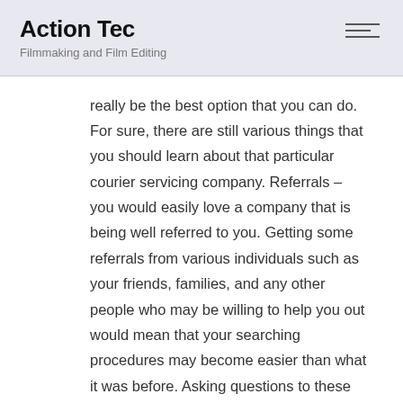Action Tec
Filmmaking and Film Editing
really be the best option that you can do. For sure, there are still various things that you should learn about that particular courier servicing company. Referrals – you would easily love a company that is being well referred to you. Getting some referrals from various individuals such as your friends, families, and any other people who may be willing to help you out would mean that your searching procedures may become easier than what it was before. Asking questions to these individuals would grant you some insights on how you should manage your selection procedures. It is perfect that you wouldn't hire a company that happens to be ill